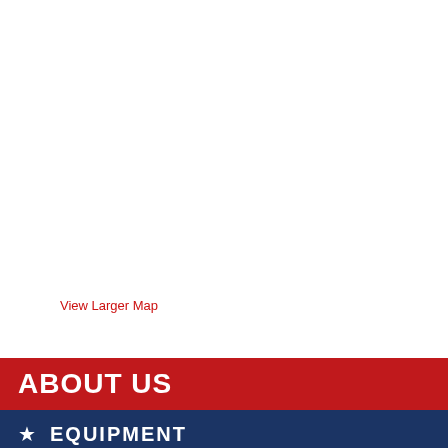View Larger Map
ABOUT US
EQUIPMENT